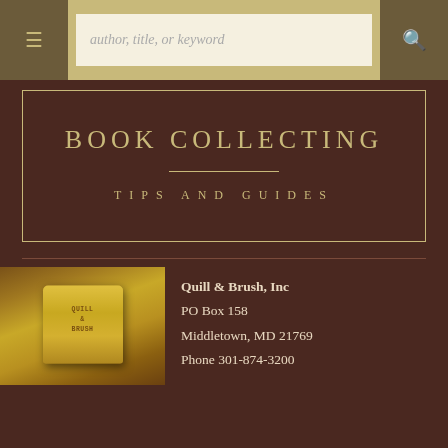author, title, or keyword
BOOK COLLECTING
TIPS AND GUIDES
[Figure (photo): Gold decorative book-related object (possibly a bookend or stamp) with 'QUILL & BRUSH' text, on a wooden background]
Quill & Brush, Inc
PO Box 158
Middletown, MD 21769
Phone 301-874-3200